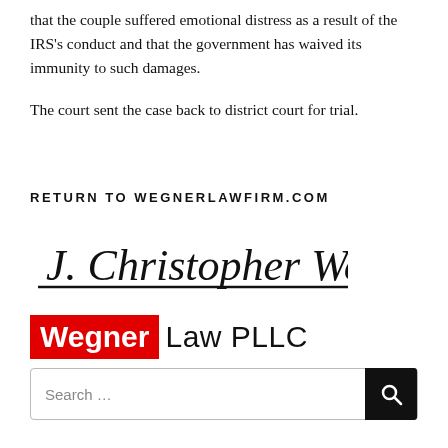that the couple suffered emotional distress as a result of the IRS's conduct and that the government has waived its immunity to such damages.
The court sent the case back to district court for trial.
RETURN TO WEGNERLAWFIRM.COM
[Figure (logo): Signature of J. Christopher Wegner above the Wegner Law PLLC logo, with 'Wegner' in white text on red background and 'Law PLLC' in black text, separated by a horizontal line.]
Search ...